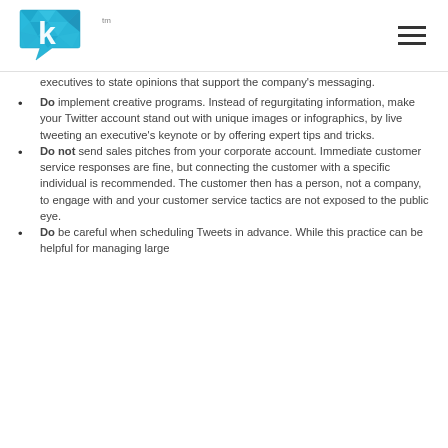Klick logo with tm mark and hamburger menu
executives to state opinions that support the company's messaging.
Do implement creative programs. Instead of regurgitating information, make your Twitter account stand out with unique images or infographics, by live tweeting an executive's keynote or by offering expert tips and tricks.
Do not send sales pitches from your corporate account. Immediate customer service responses are fine, but connecting the customer with a specific individual is recommended. The customer then has a person, not a company, to engage with and your customer service tactics are not exposed to the public eye.
Do be careful when scheduling Tweets in advance. While this practice can be helpful for managing large